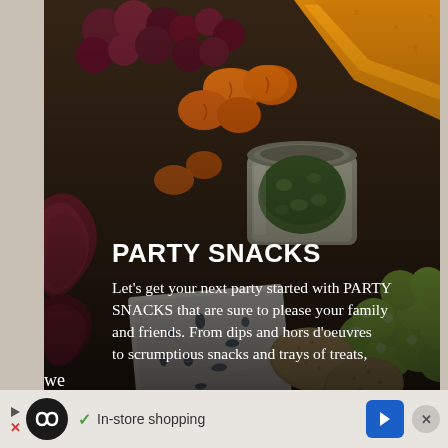[Figure (photo): A charcuterie/snack board photographed from above featuring blue cheese, dried apricots, green grapes, a jar of green jam/chutney, orange cheddar cheese wedge, crackers, and cured meats on a dark wooden board background.]
PARTY SNACKS
Let's get your next party started with PARTY SNACKS that are sure to please your family and friends. From dips and hors d'oeuvres to scrumptious snacks and trays of treats,
we
✓ In-store shopping